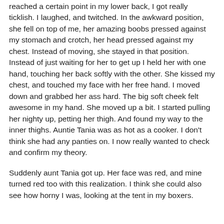reached a certain point in my lower back, I got really ticklish. I laughed, and twitched. In the awkward position, she fell on top of me, her amazing boobs pressed against my stomach and crotch, her head pressed against my chest. Instead of moving, she stayed in that position. Instead of just waiting for her to get up I held her with one hand, touching her back softly with the other. She kissed my chest, and touched my face with her free hand. I moved down and grabbed her ass hard. The big soft cheek felt awesome in my hand. She moved up a bit. I started pulling her nighty up, petting her thigh. And found my way to the inner thighs. Auntie Tania was as hot as a cooker. I don't think she had any panties on. I now really wanted to check and confirm my theory.
Suddenly aunt Tania got up. Her face was red, and mine turned red too with this realization. I think she could also see how horny I was, looking at the tent in my boxers.